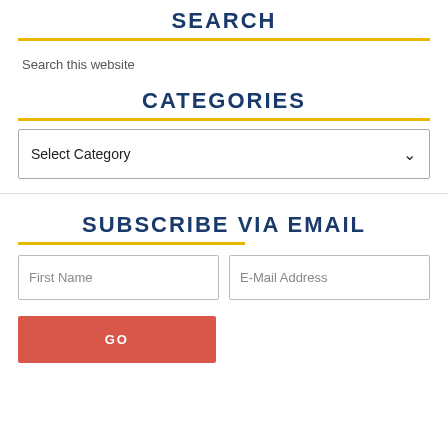SEARCH
Search this website
CATEGORIES
Select Category
SUBSCRIBE VIA EMAIL
First Name
E-Mail Address
GO